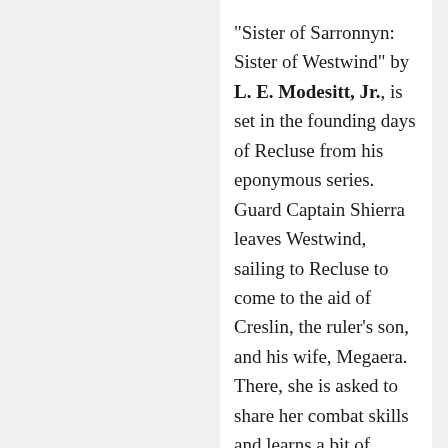"Sister of Sarronnyn: Sister of Westwind" by L. E. Modesitt, Jr., is set in the founding days of Recluse from his eponymous series. Guard Captain Shierra leaves Westwind, sailing to Recluse to come to the aid of Creslin, the ruler's son, and his wife, Megaera. There, she is asked to share her combat skills and learns a bit of magic. There is much talk of magic and warfare, but very little of it until the end. I got the gist of most of this, but I think this story was intended for faithful readers of the Recluse